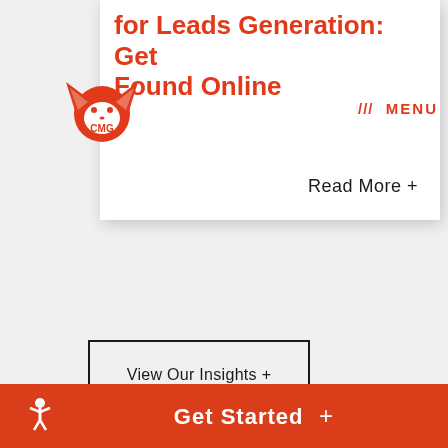for Leads Generation: Get Found Online
[Figure (logo): CMG fox logo with text CMG inside]
/// MENU
Read More +
View Our Insights +
Get Started +